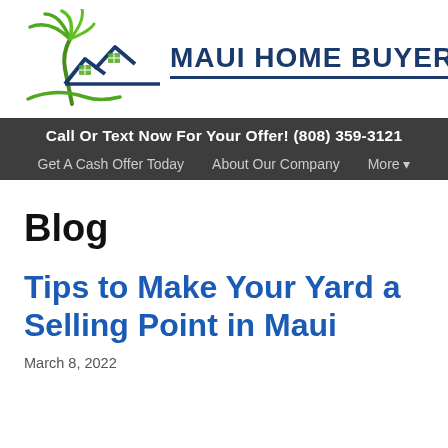[Figure (logo): Maui Home Buyers logo with palm tree graphic and house roofline icon in green and dark blue, with the text MAUI HOME BUYERS in bold dark blue]
Call Or Text Now For Your Offer! (808) 359-3121
Get A Cash Offer Today   About Our Company   More ▾
Blog
Tips to Make Your Yard a Selling Point in Maui
March 8, 2022